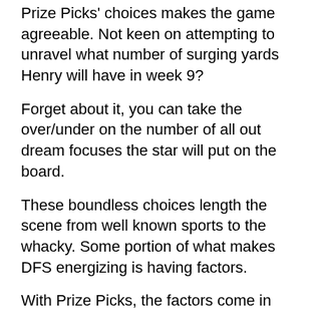Prize Picks' choices makes the game agreeable. Not keen on attempting to unravel what number of surging yards Henry will have in week 9?
Forget about it, you can take the over/under on the number of all out dream focuses the star will put on the board.
These boundless choices length the scene from well known sports to the whacky. Some portion of what makes DFS energizing is having factors.
With Prize Picks, the factors come in spades. At the end of the day, what other place could you at any point bet on circle golf?
A World of Possibilities Separates Prize Picks